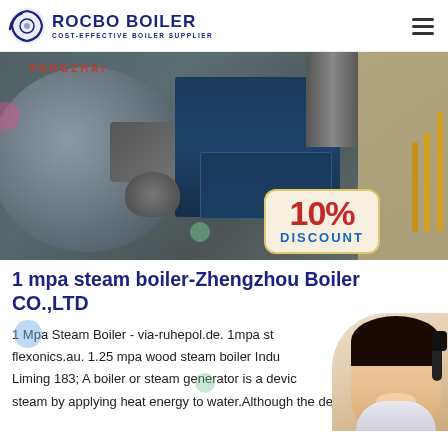[Figure (logo): Rocbo Boiler logo - circular icon with text ROCBO BOILER and tagline COST-EFFECTIVE BOILER SUPPLIER]
[Figure (photo): Industrial steam boiler equipment photo showing large cylindrical boiler machine with blue control panel, pipes and burner assembly. A '10% DISCOUNT' badge overlay in bottom right corner.]
1 mpa steam boiler-Zhengzhou Boiler CO.,LTD
1 Mpa Steam Boiler - via-ruhepol.de. 1mpa steam boiler flexonics.au. 1.25 mpa wood steam boiler Indu Liming 183; A boiler or steam generator is a device steam by applying heat energy to water.Although the definitions ...